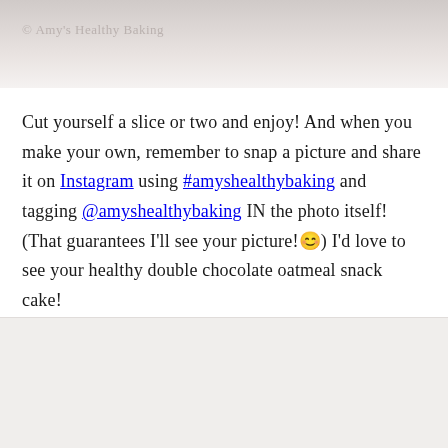[Figure (photo): Top portion of a food photograph with watermark '© Amy's Healthy Baking']
Cut yourself a slice or two and enjoy! And when you make your own, remember to snap a picture and share it on Instagram using #amyshealthybaking and tagging @amyshealthybaking IN the photo itself! (That guarantees I'll see your picture!😊) I'd love to see your healthy double chocolate oatmeal snack cake!
[Figure (photo): Bottom portion of a food photograph (partially visible)]